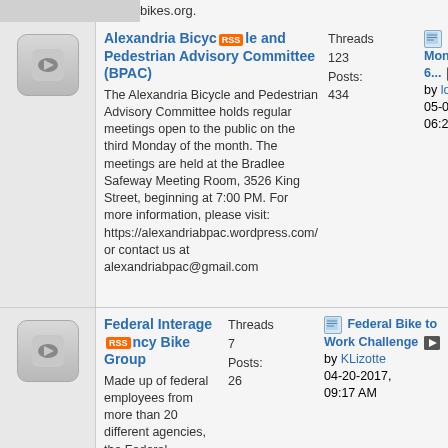bikes.org.
Alexandria Bicycle and Pedestrian Advisory Committee (BPAC)
Threads 123
Posts: 434
Meeting Monday, May 9th, at 6... by lordofthemark 05-02-2022, 06:25 PM
The Alexandria Bicycle and Pedestrian Advisory Committee holds regular meetings open to the public on the third Monday of the month. The meetings are held at the Bradlee Safeway Meeting Room, 3526 King Street, beginning at 7:00 PM. For more information, please visit: https://alexandriabpac.wordpress.com/ or contact us at alexandriabpac@gmail.com
Federal Interagency Bike Group
Threads 7
Posts: 26
Federal Bike to Work Challenge by KLizotte 04-20-2017, 09:17 AM
Made up of federal employees from more than 20 different agencies, the Federal Interagency Bike Group works on issues regarding biking in their agencies and throughout metropolitan Washington, DC. We will post events/information on bike related matters and welcome your participation and feedback. If you are interested